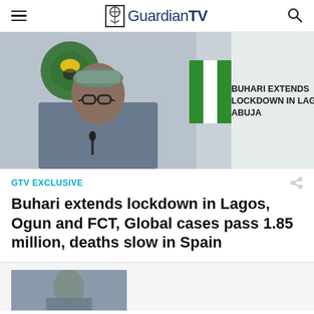GuardianTV
[Figure (photo): President Buhari standing at a podium in traditional attire with Nigerian flag and coat of arms in background. Overlay text reads: BUHARI EXTENDS LOCKDOWN IN LAGOS, ABUJA]
GTV EXCLUSIVE
Buhari extends lockdown in Lagos, Ogun and FCT, Global cases pass 1.85 million, deaths slow in Spain
[Figure (photo): Partial second article image visible at bottom of page]